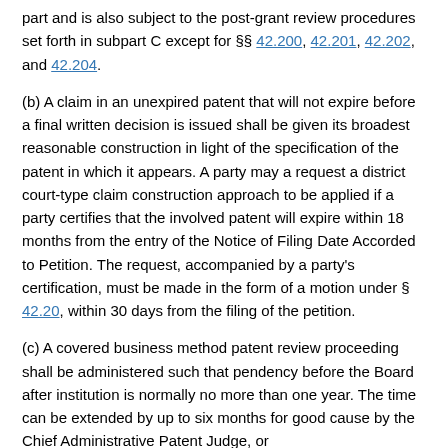part and is also subject to the post-grant review procedures set forth in subpart C except for §§ 42.200, 42.201, 42.202, and 42.204.
(b) A claim in an unexpired patent that will not expire before a final written decision is issued shall be given its broadest reasonable construction in light of the specification of the patent in which it appears. A party may a request a district court-type claim construction approach to be applied if a party certifies that the involved patent will expire within 18 months from the entry of the Notice of Filing Date Accorded to Petition. The request, accompanied by a party's certification, must be made in the form of a motion under § 42.20, within 30 days from the filing of the petition.
(c) A covered business method patent review proceeding shall be administered such that pendency before the Board after institution is normally no more than one year. The time can be extended by up to six months for good cause by the Chief Administrative Patent Judge, or